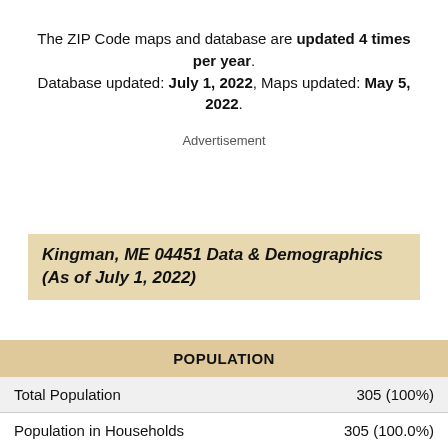The ZIP Code maps and database are updated 4 times per year. Database updated: July 1, 2022, Maps updated: May 5, 2022.
Advertisement
Kingman, ME 04451 Data & Demographics (As of July 1, 2022)
| POPULATION |  |
| --- | --- |
| Total Population | 305 (100%) |
| Population in Households | 305 (100.0%) |